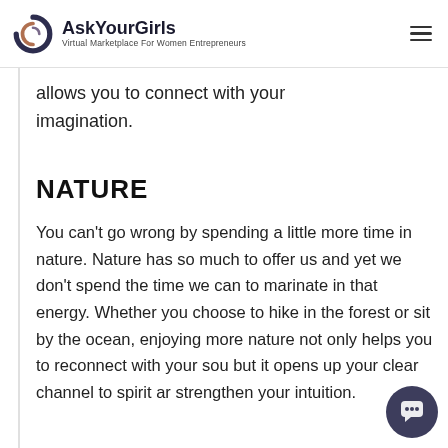AskYourGirls — Virtual Marketplace For Women Entrepreneurs
allows you to connect with your imagination.
NATURE
You can't go wrong by spending a little more time in nature. Nature has so much to offer us and yet we don't spend the time we can to marinate in that energy. Whether you choose to hike in the forest or sit by the ocean, enjoying more nature not only helps you to reconnect with your soul but it opens up your clear channel to spirit and strengthen your intuition.